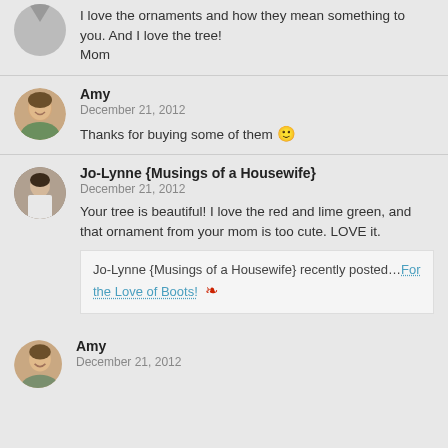I love the ornaments and how they mean something to you. And I love the tree!
Mom
Amy
December 21, 2012
Thanks for buying some of them 🙂
Jo-Lynne {Musings of a Housewife}
December 21, 2012
Your tree is beautiful! I love the red and lime green, and that ornament from your mom is too cute. LOVE it.
Jo-Lynne {Musings of a Housewife} recently posted...For the Love of Boots!
Amy
December 21, 2012